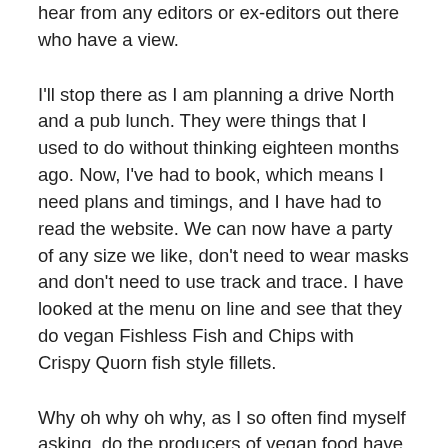hear from any editors or ex-editors out there who have a view.
I'll stop there as I am planning a drive North and a pub lunch. They were things that I used to do without thinking eighteen months ago. Now, I've had to book, which means I need plans and timings, and I have had to read the website. We can now have a party of any size we like, don't need to wear masks and don't need to use track and trace. I have looked at the menu on line and see that they do vegan Fishless Fish and Chips with Crispy Quorn fish style fillets.
Why oh why oh why, as I so often find myself asking, do the producers of vegan food have to align it with meat? Why not just advertise battered slabs of tasteless crap served with chips and peas. Vegans are hardy souls, I'm sure they could take it on the chin with a description of what they are about to be given. Mentioning fish three times in a vegan menu description doesn't make the Quorn sound better, it just